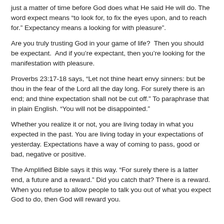just a matter of time before God does what He said He will do. The word expect means “to look for, to fix the eyes upon, and to reach for.” Expectancy means a looking for with pleasure”.
Are you truly trusting God in your game of life?  Then you should be expectant.  And if you’re expectant, then you’re looking for the manifestation with pleasure.
Proverbs 23:17-18 says, “Let not thine heart envy sinners: but be thou in the fear of the Lord all the day long. For surely there is an end; and thine expectation shall not be cut off.” To paraphrase that in plain English. “You will not be disappointed.”
Whether you realize it or not, you are living today in what you expected in the past. You are living today in your expectations of yesterday. Expectations have a way of coming to pass, good or bad, negative or positive.
The Amplified Bible says it this way. “For surely there is a latter end, a future and a reward.” Did you catch that? There is a reward. When you refuse to allow people to talk you out of what you expect God to do, then God will reward you.